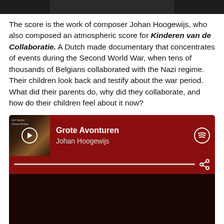[Figure (photo): Partial image at top of page, dark background]
The score is the work of composer Johan Hoogewijs, who also composed an atmospheric score for Kinderen van de Collaboratie. A Dutch made documentary that concentrates of events during the Second World War, when tens of thousands of Belgians collaborated with the Nazi regime. Their children look back and testify about the war period. What did their parents do, why did they collaborate, and how do their children feel about it now?
[Figure (screenshot): Spotify-style music player widget showing track 'Grote Avonturen' by Johan Hoogewijs with album art, play button, progress bar, share icon, and Spotify logo. Dark red background with darker section below.]